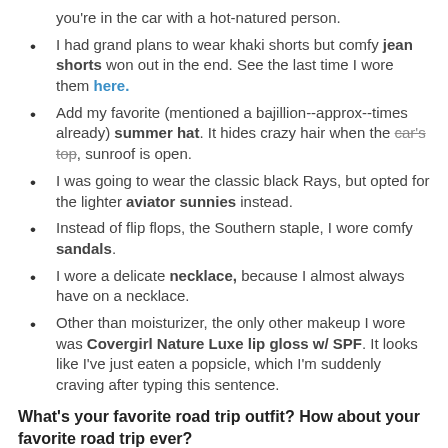you're in the car with a hot-natured person.
I had grand plans to wear khaki shorts but comfy jean shorts won out in the end. See the last time I wore them here.
Add my favorite (mentioned a bajillion--approx--times already) summer hat. It hides crazy hair when the car's top, sunroof is open.
I was going to wear the classic black Rays, but opted for the lighter aviator sunnies instead.
Instead of flip flops, the Southern staple, I wore comfy sandals.
I wore a delicate necklace, because I almost always have on a necklace.
Other than moisturizer, the only other makeup I wore was Covergirl Nature Luxe lip gloss w/ SPF. It looks like I've just eaten a popsicle, which I'm suddenly craving after typing this sentence.
What's your favorite road trip outfit? How about your favorite road trip ever?